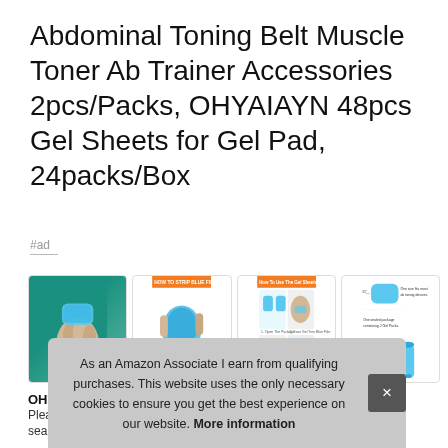Abdominal Toning Belt Muscle Toner Ab Trainer Accessories 2pcs/Packs, OHYAIAYN 48pcs Gel Sheets for Gel Pad, 24packs/Box
#ad
[Figure (photo): Four product images showing gel pad sheets: (1) blue gel pad being held by fingers on teal background, (2) HOW TO STRIP BLUE FILM instruction panel with orange header showing how to peel the blue film, (3) How To Use The Gel Sheets instruction panel with orange header showing 4 steps in grid, (4) product specification panel showing gel pad dimensions and one sealed package containing 2 Gel Packs with a blue tube/dispenser.]
OHY
Plea
sealed package protects from dry during transport. Safe and
As an Amazon Associate I earn from qualifying purchases. This website uses the only necessary cookies to ensure you get the best experience on our website. More information